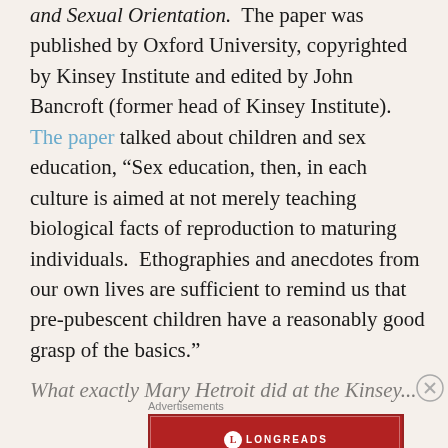and Sexual Orientation.  The paper was published by Oxford University, copyrighted by Kinsey Institute and edited by John Bancroft (former head of Kinsey Institute).  The paper talked about children and sex education, “Sex education, then, in each culture is aimed at not merely teaching biological facts of reproduction to maturing individuals.  Ethographies and anecdotes from our own lives are sufficient to remind us that pre-pubescent children have a reasonably good grasp of the basics.”
What exactly Mary Hetroit did at the Kinsey...
Advertisements
[Figure (other): Longreads advertisement banner: red background with Longreads logo and tagline 'The best stories on the web — ours, and everyone else's.']